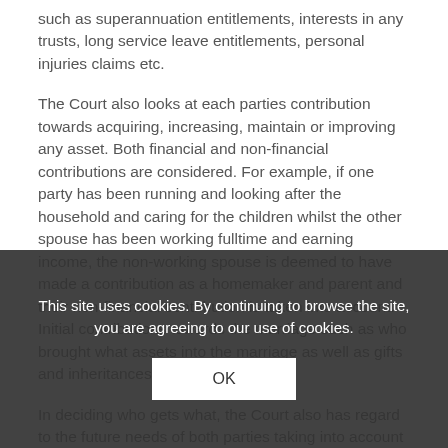such as superannuation entitlements, interests in any trusts, long service leave entitlements, personal injuries claims etc.
The Court also looks at each parties contribution towards acquiring, increasing, maintain or improving any asset. Both financial and non-financial contributions are considered. For example, if one party has been running and looking after the household and caring for the children whilst the other spouse has been working fulltime and earning income, the non-working spouse is deemed to have made a contribution as a homemaker and parent and their non-financial contribution is taken into account. Initial contributions towards the marriage such as who brought what assets into the marriage as well as gifts and inheritances are also relevant.
In deciding who gets what, the Court also has regard to the future needs of both parties taking into account a wide range of things such as each parties age, health, income earning capacity, if they have the care of any children etc etc.
The law governing the division of assets is very complex and therefore, you should obtain legal advice before making any agreement with your ex partner.
This site uses cookies. By continuing to browse the site, you are agreeing to our use of cookies.